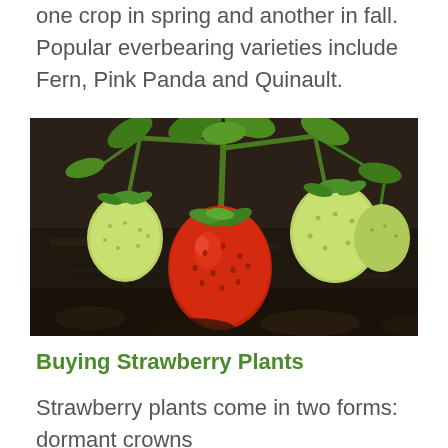one crop in spring and another in fall. Popular everbearing varieties include Fern, Pink Panda and Quinault.
[Figure (photo): Close-up photograph of strawberry plant growing in dark soil, showing one ripe red strawberry in the center surrounded by several green unripe strawberries, with green leaves and stems.]
Buying Strawberry Plants
Strawberry plants come in two forms: dormant crowns and bare-root.